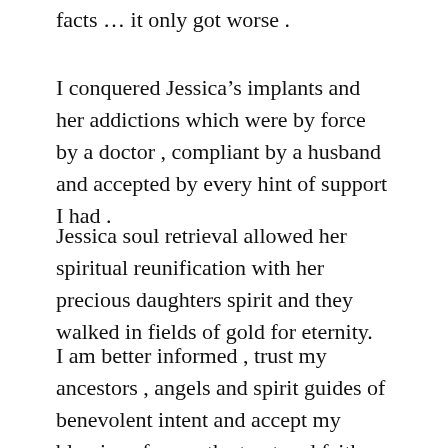facts … it only got worse .
I conquered Jessica's implants and her addictions which were by force by a doctor , compliant by a husband and accepted by every hint of support I had .
Jessica soul retrieval allowed her spiritual reunification with her precious daughters spirit and they walked in fields of gold for eternity.
I am better informed , trust my ancestors , angels and spirit guides of benevolent intent and accept my blessings for my the trust and faith and guidance that has allowed healing and clearing of ancient bloodlines .